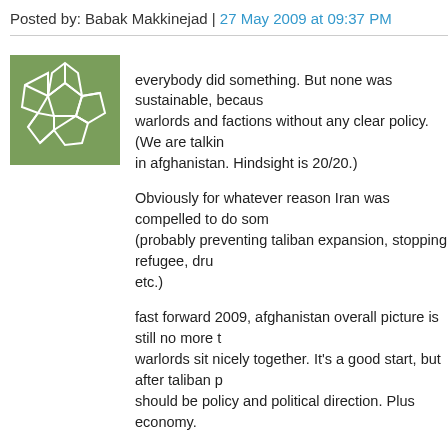Posted by: Babak Makkinejad | 27 May 2009 at 09:37 PM
[Figure (illustration): Green avatar icon with soccer ball / pentagon pattern in white lines on green background]
everybody did something. But none was sustainable, because warlords and factions without any clear policy. (We are talking in afghanistan. Hindsight is 20/20.)

Obviously for whatever reason Iran was compelled to do something (probably preventing taliban expansion, stopping refugee, drugs etc.)

fast forward 2009, afghanistan overall picture is still no more than warlords sit nicely together. It's a good start, but after taliban presence should be policy and political direction. Plus economy.

I think DC knows this, but they don't know anybody nor have a plan. Khalilzad probably is DC top choice, despite Karzai distaste. But Khalilzad gets in, the usual shenanigans will play out and things fall apart rather quick (he would be US's Najibullah) It will be pure client state regime, sustained by cash aid and military injection.

after next global economic cycle (end of 2020) at most, the war becomes too expensive for the economy to support.

that would be the most common plot. My point, if Iran makes it